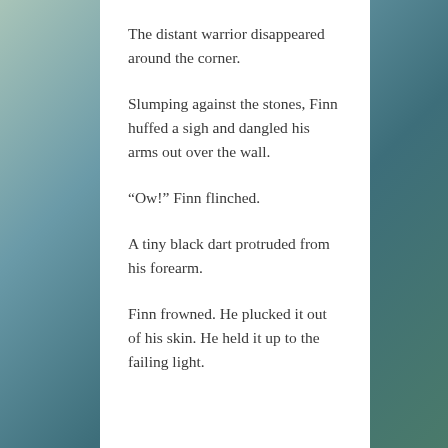The distant warrior disappeared around the corner.
Slumping against the stones, Finn huffed a sigh and dangled his arms out over the wall.
“Ow!” Finn flinched.
A tiny black dart protruded from his forearm.
Finn frowned. He plucked it out of his skin. He held it up to the failing light.